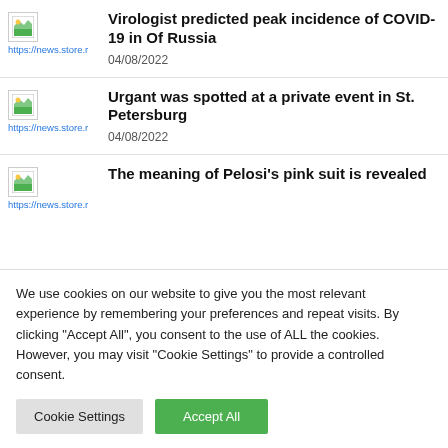Virologist predicted peak incidence of COVID-19 in Of Russia
04/08/2022
Urgant was spotted at a private event in St. Petersburg
04/08/2022
The meaning of Pelosi's pink suit is revealed
We use cookies on our website to give you the most relevant experience by remembering your preferences and repeat visits. By clicking "Accept All", you consent to the use of ALL the cookies. However, you may visit "Cookie Settings" to provide a controlled consent.
Cookie Settings | Accept All